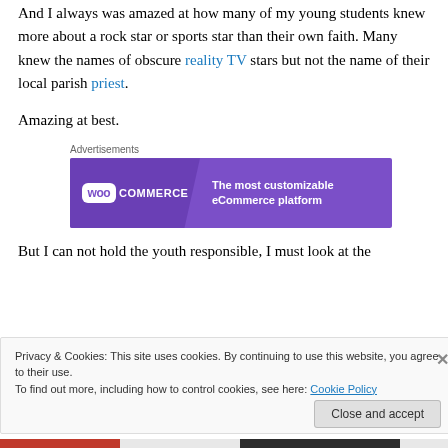And I always was amazed at how many of my young students knew more about a rock star or sports star than their own faith. Many knew the names of obscure reality TV stars but not the name of their local parish priest.
Amazing at best.
[Figure (other): WooCommerce advertisement banner with purple background. Text: 'The most customizable eCommerce platform']
But I can not hold the youth responsible, I must look at the
Privacy & Cookies: This site uses cookies. By continuing to use this website, you agree to their use. To find out more, including how to control cookies, see here: Cookie Policy